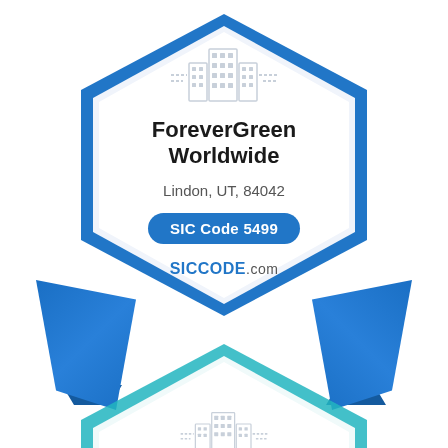[Figure (logo): SICCode.com business badge for ForeverGreen Worldwide. A hexagonal badge with blue border, building icon at top, company name, address, SIC code pill, and SICCODE.com branding. Blue ribbon decorations on left and right sides. A second partial badge is visible at the bottom.]
ForeverGreen Worldwide
Lindon, UT, 84042
SIC Code 5499
SICCODE.com